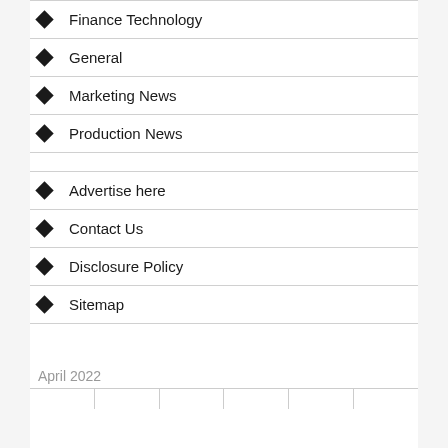Finance Technology
General
Marketing News
Production News
Advertise here
Contact Us
Disclosure Policy
Sitemap
April 2022
|  |